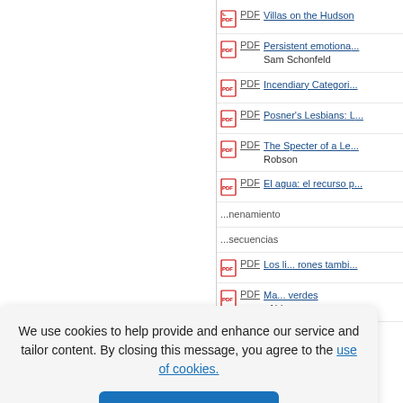PDF  Villas on the Hudson
PDF  Persistent emotional... Sam Schonfeld
PDF  Incendiary Categori...
PDF  Posner's Lesbians: L...
PDF  The Specter of a Le... Robson
PDF  El agua: el recurso p...
PDF  ...nenamiento
PDF  ...secuencias
PDF  Los li... rones tambi...
PDF  Ma... verdes, Ald...
PDF  Tabaco, ambiente y...
We use cookies to help provide and enhance our service and tailor content. By closing this message, you agree to the use of cookies.
Close